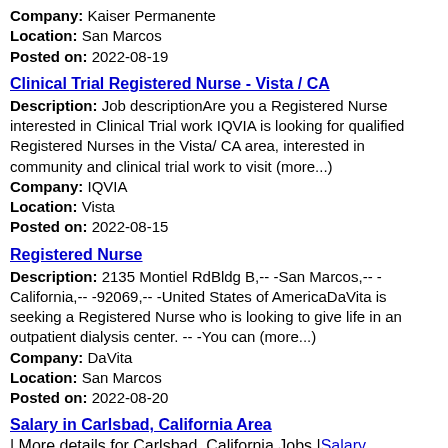Company: Kaiser Permanente
Location: San Marcos
Posted on: 2022-08-19
Clinical Trial Registered Nurse - Vista / CA
Description: Job descriptionAre you a Registered Nurse interested in Clinical Trial work IQVIA is looking for qualified Registered Nurses in the Vista/ CA area, interested in community and clinical trial work to visit (more...)
Company: IQVIA
Location: Vista
Posted on: 2022-08-15
Registered Nurse
Description: 2135 Montiel RdBldg B,-- -San Marcos,-- -California,-- -92069,-- -United States of AmericaDaVita is seeking a Registered Nurse who is looking to give life in an outpatient dialysis center. -- -You can (more...)
Company: DaVita
Location: San Marcos
Posted on: 2022-08-20
Salary in Carlsbad, California Area | More details for Carlsbad, California Jobs |Salary
Home-based Participate In National Focus Groups & Clinical Trials